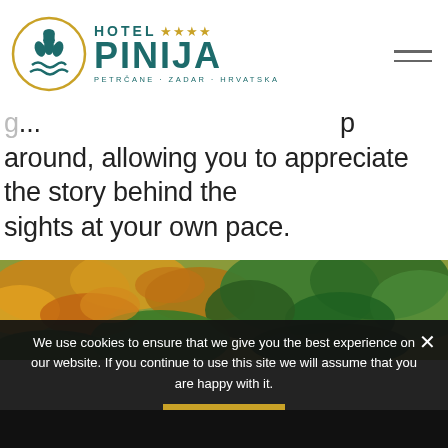[Figure (logo): Hotel Pinija logo: circular golden border with a stylized pine/wave emblem in teal, alongside text 'HOTEL **** PINIJA' in teal and 'PETRČANE • ZADAR • HRVATSKA' subtitle]
around, allowing you to appreciate the story behind the sights at your own pace.
[Figure (photo): Outdoor nature photo showing autumn foliage with yellow, orange, and green leaves and trees]
We use cookies to ensure that we give you the best experience on our website. If you continue to use this site we will assume that you are happy with it.